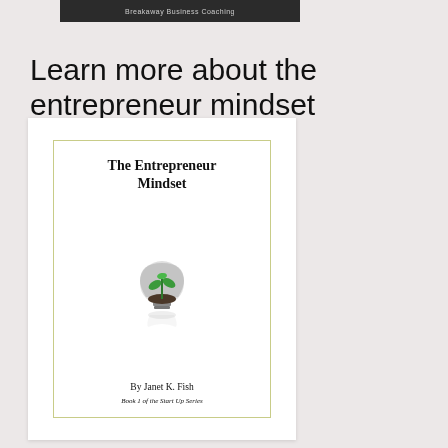Breakaway Business Coaching
Learn more about the entrepreneur mindset
[Figure (illustration): Book cover for 'The Entrepreneur Mindset' by Janet K. Fish, Book 1 of the Start Up Series. Cover shows a light bulb with a plant growing inside it. White background with olive/yellow-green border.]